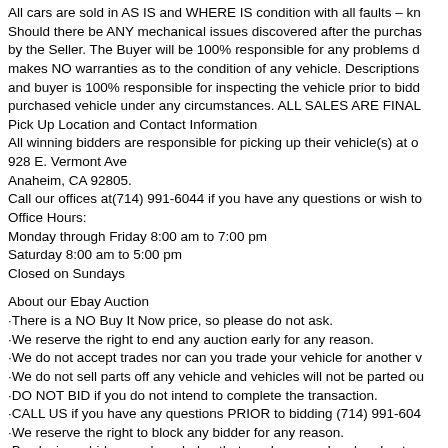All cars are sold in AS IS and WHERE IS condition with all faults – kn Should there be ANY mechanical issues discovered after the purchas by the Seller. The Buyer will be 100% responsible for any problems d makes NO warranties as to the condition of any vehicle. Descriptions and buyer is 100% responsible for inspecting the vehicle prior to bidd purchased vehicle under any circumstances. ALL SALES ARE FINAL
Pick Up Location and Contact Information
All winning bidders are responsible for picking up their vehicle(s) at o
928 E. Vermont Ave
Anaheim, CA 92805.
Call our offices at(714) 991-6044 if you have any questions or wish to
Office Hours:
Monday through Friday 8:00 am to 7:00 pm
Saturday 8:00 am to 5:00 pm
Closed on Sundays
About our Ebay Auction
·There is a NO Buy It Now price, so please do not ask.
·We reserve the right to end any auction early for any reason.
·We do not accept trades nor can you trade your vehicle for another v
·We do not sell parts off any vehicle and vehicles will not be parted ou
·DO NOT BID if you do not intend to complete the transaction.
·CALL US if you have any questions PRIOR to bidding (714) 991-604
·We reserve the right to block any bidder for any reason.
·By placing a bid you acknowledge that you have read and understan
·All vehicles are delivered at our location. Buyers are responsible for p transportation.
All sold items will be considered ABANDONED after 10 days, unless s